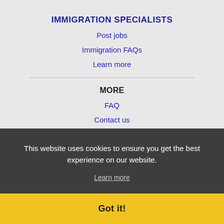IMMIGRATION SPECIALISTS
Post jobs
Immigration FAQs
Learn more
MORE
FAQ
Contact us
Sitemap
Legal
Privacy
NEARBY CITIES
View all locations
This website uses cookies to ensure you get the best experience on our website.
Learn more
Got it!